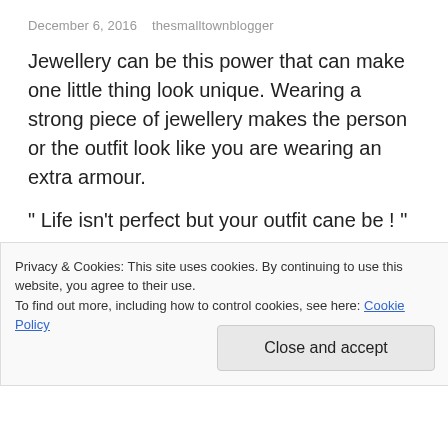December 6, 2016   thesmalltownblogger
Jewellery can be this power that can make one little thing look unique. Wearing a strong piece of jewellery makes the person or the outfit look like you are wearing an extra armour.
" Life isn't perfect but your outfit cane be ! "
At a mall or any flea market, I run to the jewellery section first. Come what may I always head to the jewellery table first. There is something about them
Privacy & Cookies: This site uses cookies. By continuing to use this website, you agree to their use.
To find out more, including how to control cookies, see here: Cookie Policy
Close and accept